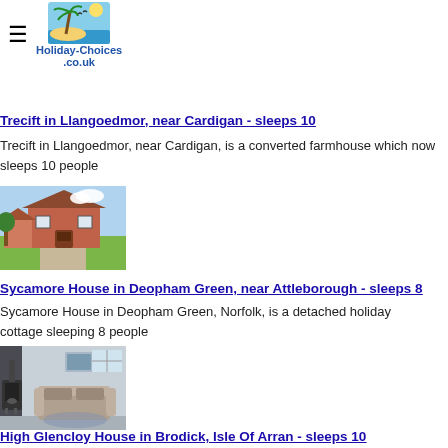Holiday-Choices.co.uk
Trecift in Llangoedmor, near Cardigan - sleeps 10
Trecift in Llangoedmor, near Cardigan, is a converted farmhouse which now sleeps 10 people
[Figure (photo): Photo of a red-brick detached farmhouse with green lawn and driveway]
Sycamore House in Deopham Green, near Attleborough - sleeps 8
Sycamore House in Deopham Green, Norfolk, is a detached holiday cottage sleeping 8 people
[Figure (photo): Interior photo of a holiday cottage living room with sofa, wood burner stove, and grey decor]
High Glencloy House in Brodick, Isle Of Arran - sleeps 10